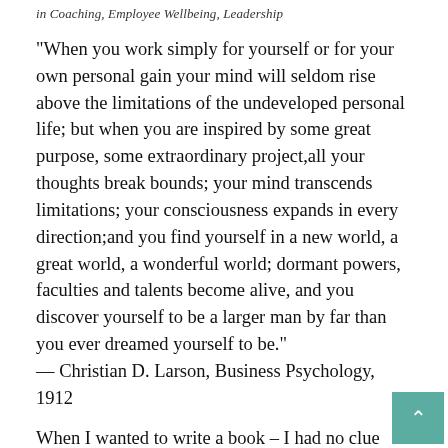in Coaching, Employee Wellbeing, Leadership
“When you work simply for yourself or for your own personal gain your mind will seldom rise above the limitations of the undeveloped personal life; but when you are inspired by some great purpose, some extraordinary project,all your thoughts break bounds; your mind transcends limitations; your consciousness expands in every direction;and you find yourself in a new world, a great world, a wonderful world; dormant powers, faculties and talents become alive, and you discover yourself to be a larger man by far than you ever dreamed yourself to be.”
— Christian D. Larson, Business Psychology, 1912
When I wanted to write a book – I had no clue how I would do it.However the universe